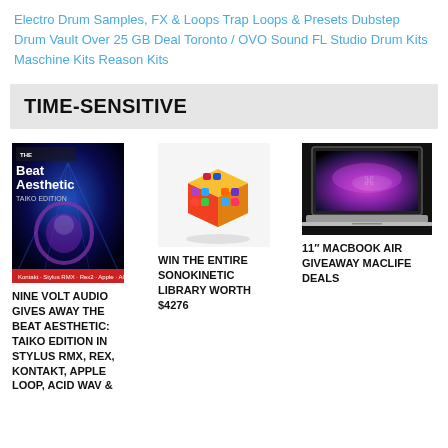Electro Drum Samples, FX & Loops Trap Loops & Presets Dubstep Drum Vault Over 25 GB Deal Toronto / OVO Sound FL Studio Drum Kits Maschine Kits Reason Kits
TIME-SENSITIVE
[Figure (photo): Book cover for 'The Beat Aesthetic: Taiko Edition' by Nine Volt Audio, dark blue background with abstract design]
NINE VOLT AUDIO GIVES AWAY THE BEAT AESTHETIC: TAIKO EDITION IN STYLUS RMX, REX, KONTAKT, APPLE LOOP, ACID WAV &
[Figure (photo): Colorful 3D cube/box made of smaller app icon squares in orange, purple, and various colors]
WIN THE ENTIRE SONOKINETIC LIBRARY WORTH $4276
[Figure (photo): MacBook Air laptop open on dark background with colorful display]
11" MACBOOK AIR GIVEAWAY MACLIFE DEALS